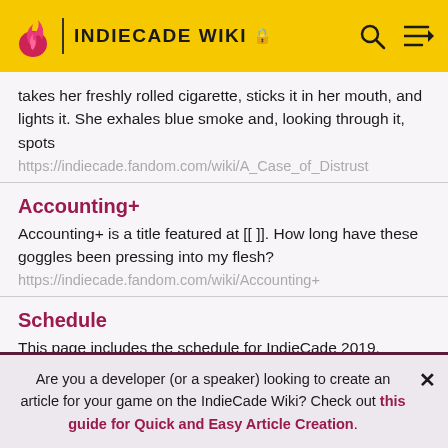INDIECADE WIKI
takes her freshly rolled cigarette, sticks it in her mouth, and lights it. She exhales blue smoke and, looking through it, spots
https://indiecade.fandom.com/wiki/A_Case_of_Distrust
Accounting+
Accounting+ is a title featured at [[ ]]. How long have these goggles been pressing into my flesh?
https://indiecade.fandom.com/wiki/Accounting+
Schedule
This page includes the schedule for IndieCade 2019.
https://indiecade.fandom.com/wiki/Schedule
Are you a developer (or a speaker) looking to create an article for your game on the IndieCade Wiki? Check out this guide for Quick and Easy Article Creation.